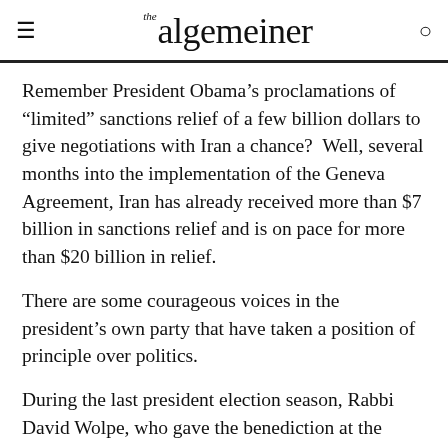the algemeiner
Remember President Obama’s proclamations of “limited” sanctions relief of a few billion dollars to give negotiations with Iran a chance?  Well, several months into the implementation of the Geneva Agreement, Iran has already received more than $7 billion in sanctions relief and is on pace for more than $20 billion in relief.
There are some courageous voices in the president’s own party that have taken a position of principle over politics.
During the last president election season, Rabbi David Wolpe, who gave the benediction at the Democratic National Convention, said that he was